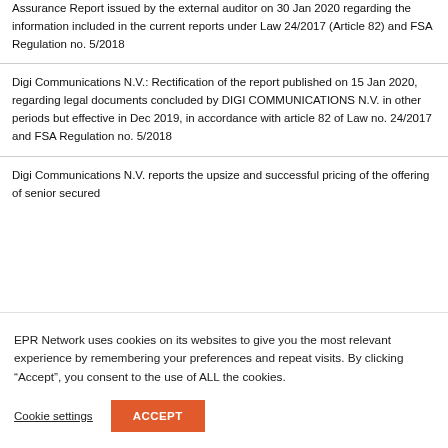Assurance Report issued by the external auditor on 30 Jan 2020 regarding the information included in the current reports under Law 24/2017 (Article 82) and FSA Regulation no. 5/2018
Digi Communications N.V.: Rectification of the report published on 15 Jan 2020, regarding legal documents concluded by DIGI COMMUNICATIONS N.V. in other periods but effective in Dec 2019, in accordance with article 82 of Law no. 24/2017 and FSA Regulation no. 5/2018
Digi Communications N.V. reports the upsize and successful pricing of the offering of senior secured...
EPR Network uses cookies on its websites to give you the most relevant experience by remembering your preferences and repeat visits. By clicking “Accept”, you consent to the use of ALL the cookies.